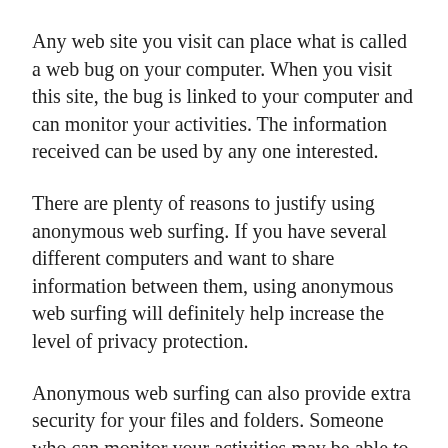Any web site you visit can place what is called a web bug on your computer. When you visit this site, the bug is linked to your computer and can monitor your activities. The information received can be used by any one interested.
There are plenty of reasons to justify using anonymous web surfing. If you have several different computers and want to share information between them, using anonymous web surfing will definitely help increase the level of privacy protection.
Anonymous web surfing can also provide extra security for your files and folders. Someone who can monitor your activities may be able to guess